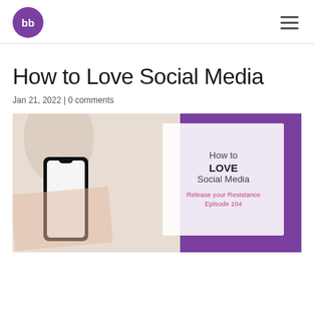bb logo | hamburger menu
How to Love Social Media
Jan 21, 2022 | 0 comments
[Figure (photo): Blog post featured image showing a coffee glass, phone on a desk with peach/beige background, overlaid with a purple block and a white card reading 'How to LOVE Social Media – Release your Resistance Episode 104']